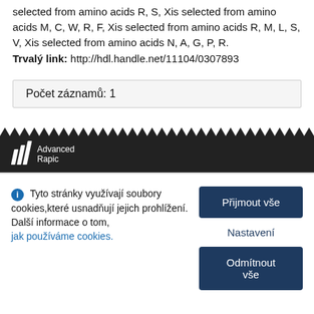selected from amino acids R, S, Xis selected from amino acids M, C, W, R, F, Xis selected from amino acids R, M, L, S, V, Xis selected from amino acids N, A, G, P, R.
Trvalý link: http://hdl.handle.net/11104/0307893
Počet záznamů: 1
[Figure (logo): Advanced Rapid logo with white slash marks and text on dark background]
Tyto stránky využívají soubory cookies,které usnadňují jejich prohlížení. Další informace o tom, jak používáme cookies.